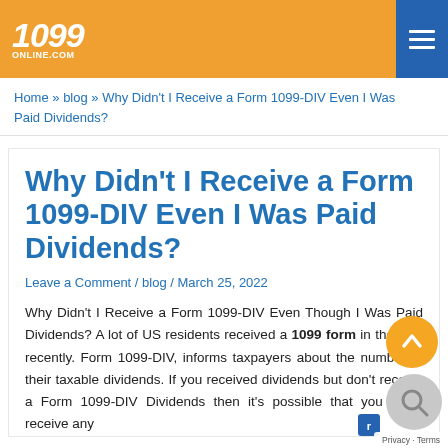1099 ONLINE.COM
Home » blog » Why Didn't I Receive a Form 1099-DIV Even I Was Paid Dividends?
Why Didn't I Receive a Form 1099-DIV Even I Was Paid Dividends?
Leave a Comment / blog / March 25, 2022
Why Didn't I Receive a Form 1099-DIV Even Though I Was Paid Dividends? A lot of US residents received a 1099 form in the mail recently. Form 1099-DIV, informs taxpayers about the number of their taxable dividends. If you received dividends but don't receive a Form 1099-DIV Dividends then it's possible that you didn't receive any